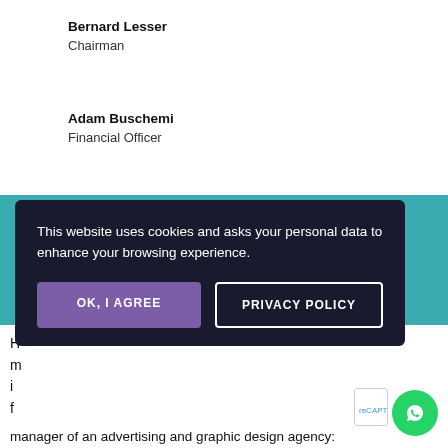Bernard Lesser
Chairman
Adam Buschemi
Financial Officer
Business, Coworking, Logotypes
[Figure (other): Four color swatches: purple, blue, indigo, green]
This website uses cookies and asks your personal data to enhance your browsing experience.
OK, I AGREE
PRIVACY POLICY
manager of an advertising and graphic design agency: